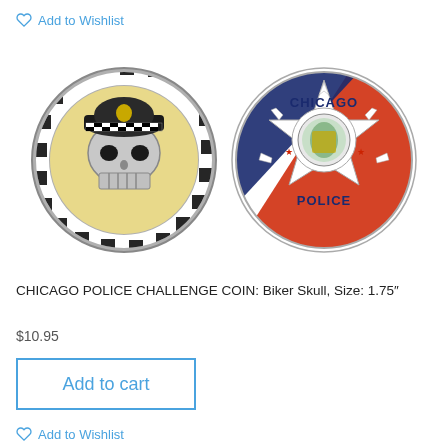Add to Wishlist
[Figure (photo): Two sides of a Chicago Police challenge coin. Left side shows a biker skull design with a checkered border. Right side shows the Chicago Police star badge with American flag colors and the city seal in the center.]
CHICAGO POLICE CHALLENGE COIN: Biker Skull, Size: 1.75"
$10.95
Add to cart
Add to Wishlist